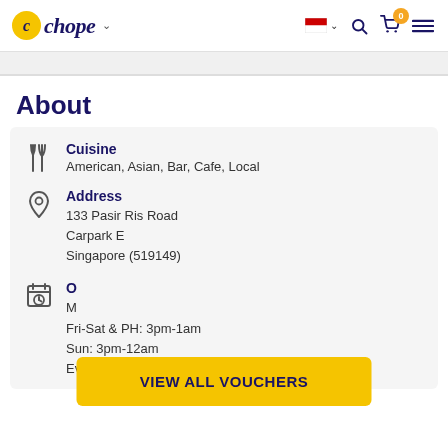Chope — restaurant reservation website header with logo, country selector (Indonesia flag), search, cart (0), and menu icons
About
Cuisine
American, Asian, Bar, Cafe, Local
Address
133 Pasir Ris Road
Carpark E
Singapore (519149)
Opening Hours
Mon–Thu: [partially hidden by VIEW ALL VOUCHERS button]
Fri-Sat & PH: 3pm-1am
Sun: 3pm-12am
Eve of PH: 4pm-2am
VIEW ALL VOUCHERS